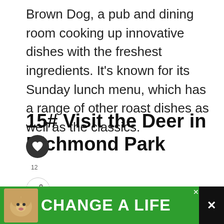Brown Dog, a pub and dining room cooking up innovative dishes with the freshest ingredients. It's known for its Sunday lunch menu, which has a range of other roast dishes as well as the classics.
15# Visit the Deer in Richmond Park
[Figure (photo): Photograph of deer in Richmond Park with green trees in background and open grassland]
[Figure (other): Advertisement banner with green background showing a dog photo and text 'CHANGE A LIFE']